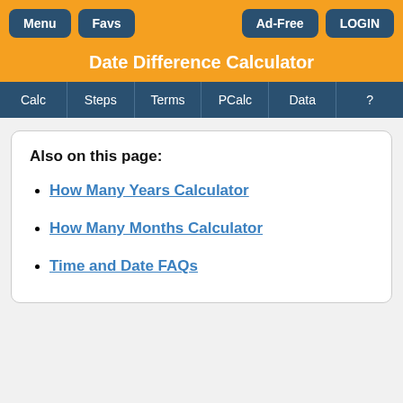Menu | Favs | Ad-Free | LOGIN
Date Difference Calculator
Calc | Steps | Terms | PCalc | Data | ?
Also on this page:
How Many Years Calculator
How Many Months Calculator
Time and Date FAQs